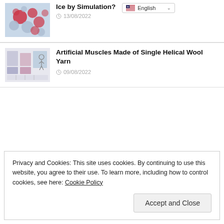[Figure (photo): Thumbnail image showing colorful molecular/cellular simulation with red and blue/grey spheres]
Ice by Simulation?
13/08/2022
[Figure (illustration): Thumbnail image showing artificial muscles diagram with figures and textile structures]
Artificial Muscles Made of Single Helical Wool Yarn
09/08/2022
Privacy and Cookies: This site uses cookies. By continuing to use this website, you agree to their use. To learn more, including how to control cookies, see here: Cookie Policy